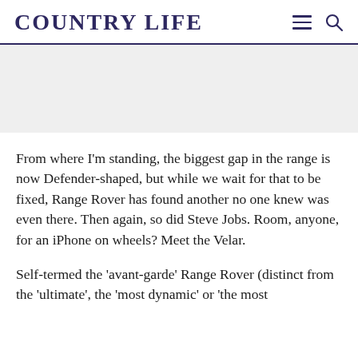COUNTRY LIFE
[Figure (other): Advertisement placeholder — grey rectangle]
From where I'm standing, the biggest gap in the range is now Defender-shaped, but while we wait for that to be fixed, Range Rover has found another no one knew was even there. Then again, so did Steve Jobs. Room, anyone, for an iPhone on wheels? Meet the Velar.
Self-termed the 'avant-garde' Range Rover (distinct from the 'ultimate', the 'most dynamic' or 'the most